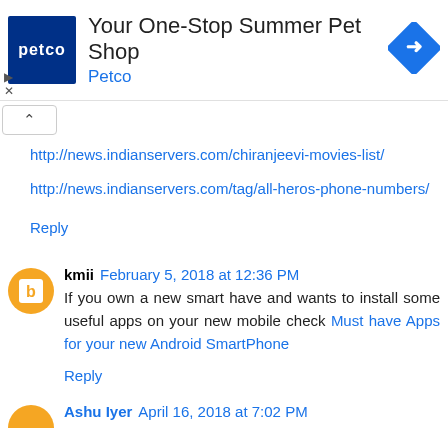[Figure (screenshot): Petco advertisement banner with blue Petco logo, text 'Your One-Stop Summer Pet Shop' and 'Petco', and a blue diamond navigation icon]
http://news.indianservers.com/chiranjeevi-movies-list/
http://news.indianservers.com/tag/all-heros-phone-numbers/
Reply
kmii  February 5, 2018 at 12:36 PM
If you own a new smart have and wants to install some useful apps on your new mobile check Must have Apps for your new Android SmartPhone
Reply
Ashu Iyer  April 16, 2018 at 7:02 PM